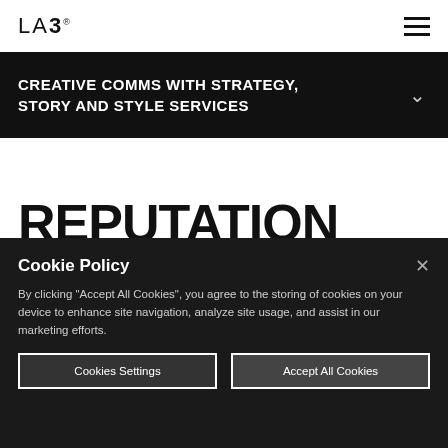LAB® ☰
CREATIVE COMMS WITH STRATEGY, STORY AND STYLE SERVICES
REPUTATION MANAGEMENT
Cookie Policy
By clicking "Accept All Cookies", you agree to the storing of cookies on your device to enhance site navigation, analyze site usage, and assist in our marketing efforts.
Cookies Settings
Accept All Cookies